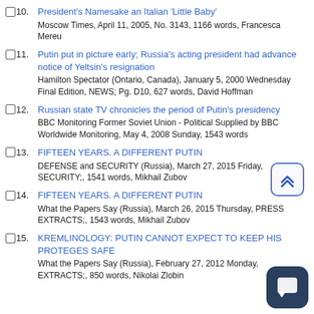10. President's Namesake an Italian 'Little Baby'
Moscow Times, April 11, 2005, No. 3143, 1166 words, Francesca Mereu
11. Putin put in picture early; Russia's acting president had advance notice of Yeltsin's resignation
Hamilton Spectator (Ontario, Canada), January 5, 2000 Wednesday Final Edition, NEWS; Pg. D10, 627 words, David Hoffman
12. Russian state TV chronicles the period of Putin's presidency
BBC Monitoring Former Soviet Union - Political Supplied by BBC Worldwide Monitoring, May 4, 2008 Sunday, 1543 words
13. FIFTEEN YEARS. A DIFFERENT PUTIN
DEFENSE and SECURITY (Russia), March 27, 2015 Friday, SECURITY;, 1541 words, Mikhail Zubov
14. FIFTEEN YEARS. A DIFFERENT PUTIN
What the Papers Say (Russia), March 26, 2015 Thursday, PRESS EXTRACTS;, 1543 words, Mikhail Zubov
15. KREMLINOLOGY: PUTIN CANNOT EXPECT TO KEEP HIS PROTEGES SAFE
What the Papers Say (Russia), February 27, 2012 Monday, EXTRACTS;, 850 words, Nikolai Zlobin